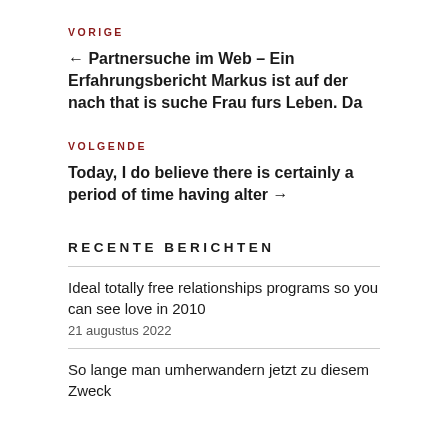VORIGE
← Partnersuche im Web – Ein Erfahrungsbericht Markus ist auf der nach that is suche Frau furs Leben. Da
VOLGENDE
Today, I do believe there is certainly a period of time having alter →
RECENTE BERICHTEN
Ideal totally free relationships programs so you can see love in 2010
21 augustus 2022
So lange man umherwandern jetzt zu diesem Zweck